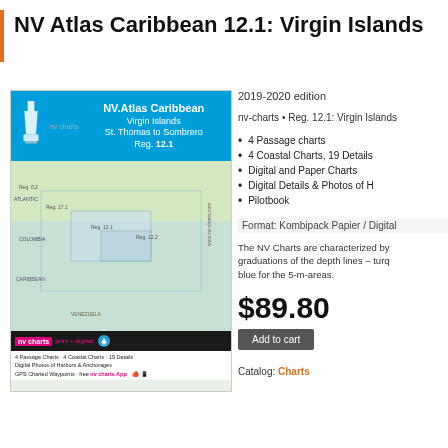NV Atlas Caribbean 12.1: Virgin Islands
[Figure (photo): Product image of NV Atlas Caribbean Virgin Islands chart - showing a blue header with lighthouse icon, nautical map of Caribbean region, and product details]
2019-2020 edition
nv-charts • Reg. 12.1: Virgin Islands
4 Passage charts
4 Coastal Charts, 19 Details
Digital and Paper Charts
Digital Details & Photos of H
Pilotbook
Format: Kombipack Papier / Digital
The NV Charts are characterized by graduations of the depth lines – turq blue for the 5-m-areas.
$89.80
Add to cart
Catalog: Charts